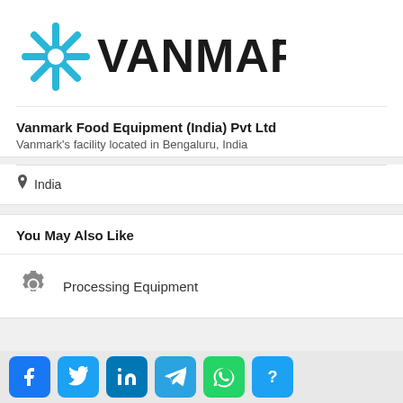[Figure (logo): Vanmark logo with cyan snowflake/star icon and bold black VANMARK text with registered trademark symbol]
Vanmark Food Equipment (India) Pvt Ltd
Vanmark's facility located in Bengaluru, India
India
You May Also Like
Processing Equipment